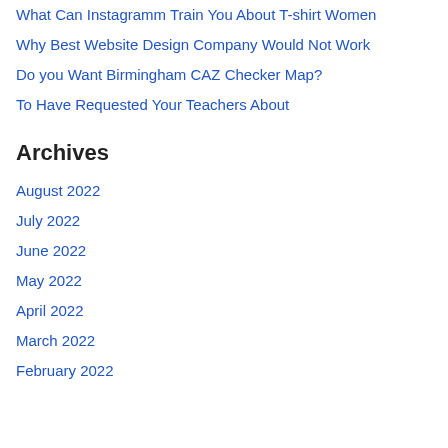What Can Instagramm Train You About T-shirt Women
Why Best Website Design Company Would Not Work
Do you Want Birmingham CAZ Checker Map?
To Have Requested Your Teachers About
Archives
August 2022
July 2022
June 2022
May 2022
April 2022
March 2022
February 2022